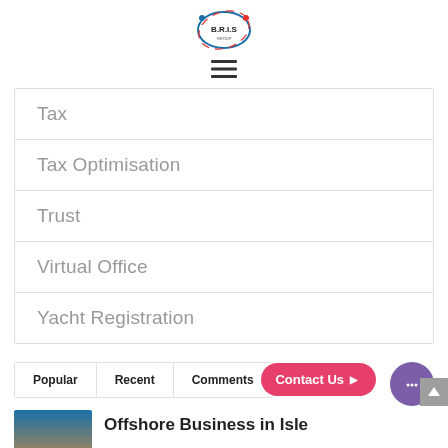[Figure (logo): B.R.I.S Group logo - circular globe design with text]
[Figure (other): Hamburger menu icon (three horizontal bars)]
Tax
Tax Optimisation
Trust
Virtual Office
Yacht Registration
Popular
Recent
Comments
Offshore Business in Isle